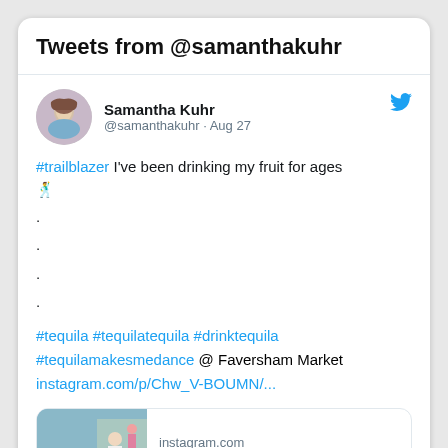Tweets from @samanthakuhr
Samantha Kuhr @samanthakuhr · Aug 27
#trailblazer I've been drinking my fruit for ages 💃
.
.
.
.
#tequila #tequilatequila #drinktequila #tequilamakesmedance @ Faversham Market instagram.com/p/Chw_V-BOUMN/...
[Figure (screenshot): Instagram preview card showing instagram.com domain, SAMANTHA KUHR (@samanthakuhr) • Instagra... with a photo of a woman in white dress outside a market]